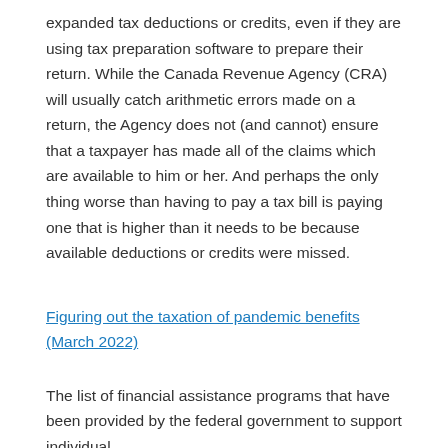expanded tax deductions or credits, even if they are using tax preparation software to prepare their return. While the Canada Revenue Agency (CRA) will usually catch arithmetic errors made on a return, the Agency does not (and cannot) ensure that a taxpayer has made all of the claims which are available to him or her. And perhaps the only thing worse than having to pay a tax bill is paying one that is higher than it needs to be because available deductions or credits were missed.
Figuring out the taxation of pandemic benefits (March 2022)
The list of financial assistance programs that have been provided by the federal government to support individual